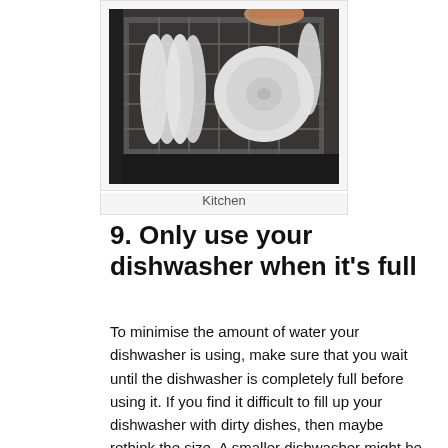[Figure (photo): A photograph of a dishwasher rack loaded with white plates and dishes, shown from above/front angle, in grayscale tones.]
Kitchen
9. Only use your dishwasher when it's full
To minimise the amount of water your dishwasher is using, make sure that you wait until the dishwasher is completely full before using it. If you find it difficult to fill up your dishwasher with dirty dishes, then maybe rethink the size. A smaller dishwasher might be better suited to your households and will use less water for each cycle.